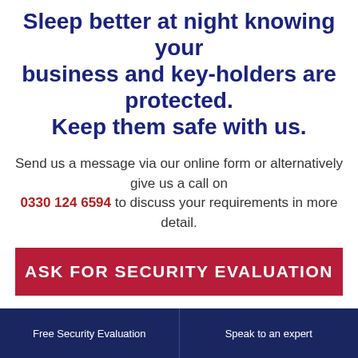Sleep better at night knowing your business and key-holders are protected. Keep them safe with us.
Send us a message via our online form or alternatively give us a call on 0330 124 6594 to discuss your requirements in more detail.
ASK FOR SECURITY EVALUATION
Free Security Evaluation | Speak to an expert